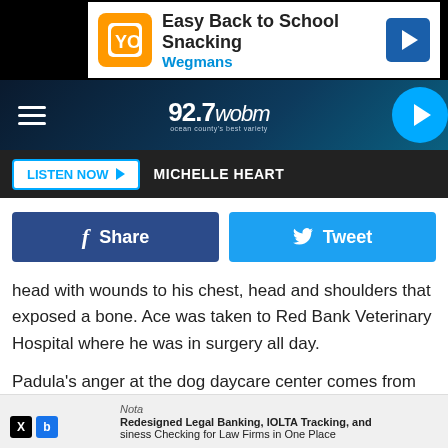[Figure (screenshot): Wegmans ad banner: Easy Back to School Snacking]
92.7 wobm — radio navigation bar with hamburger menu and play button
LISTEN NOW  MICHELLE HEART
[Figure (infographic): Share and Tweet social buttons]
head with wounds to his chest, head and shoulders that exposed a bone. Ace was taken to Red Bank Veterinary Hospital where he was in surgery all day.
Padula's anger at the dog daycare center comes from their refusal to tell her the name of the pit bull owners and a snafu over payment of the initial surgery. She told CBS New York that the vet would not let her take Ace home over payment
Nota — Redesigned Legal Banking, IOLTA Tracking, and siness Checking for Law Firms in One Place